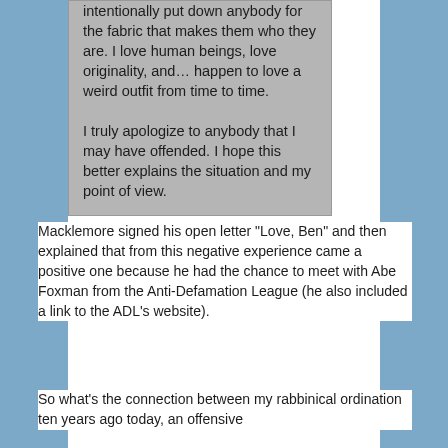intentionally put down anybody for the fabric that makes them who they are. I love human beings, love originality, and… happen to love a weird outfit from time to time.

I truly apologize to anybody that I may have offended. I hope this better explains the situation and my point of view.
Macklemore signed his open letter "Love, Ben" and then explained that from this negative experience came a positive one because he had the chance to meet with Abe Foxman from the Anti-Defamation League (he also included a link to the ADL's website).
So what's the connection between my rabbinical ordination ten years ago today, an offensive